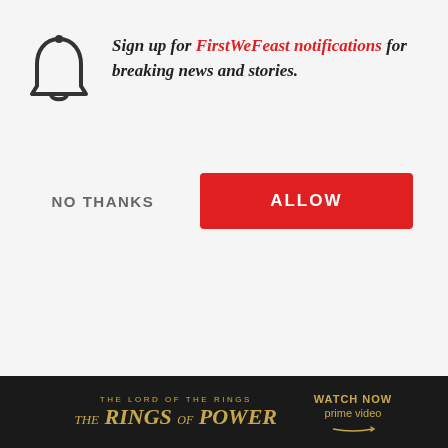[Figure (screenshot): Background website content showing a partial logo (animal skull/horns silhouette) on the left and a photo of a smiling man with beard in front of colorful artwork on the right, with 'Top Articles' heading visible]
Sign up for FirstWeFeast notifications for breaking news and stories.
NO THANKS
ALLOW
[Figure (screenshot): Advertisement banner for 'The Lord of the Rings: The Rings of Power' on Prime Video with gold text on dark background]